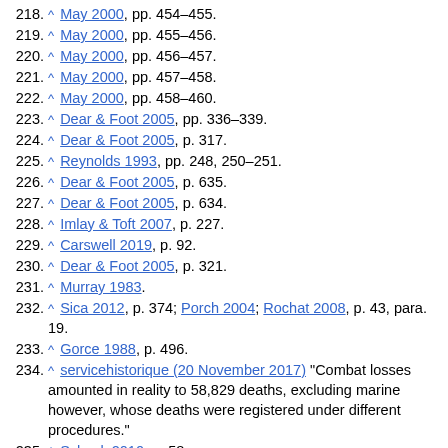218. ^ May 2000, pp. 454–455.
219. ^ May 2000, pp. 455–456.
220. ^ May 2000, pp. 456–457.
221. ^ May 2000, pp. 457–458.
222. ^ May 2000, pp. 458–460.
223. ^ Dear & Foot 2005, pp. 336–339.
224. ^ Dear & Foot 2005, p. 317.
225. ^ Reynolds 1993, pp. 248, 250–251.
226. ^ Dear & Foot 2005, p. 635.
227. ^ Dear & Foot 2005, p. 634.
228. ^ Imlay & Toft 2007, p. 227.
229. ^ Carswell 2019, p. 92.
230. ^ Dear & Foot 2005, p. 321.
231. ^ Murray 1983.
232. ^ Sica 2012, p. 374; Porch 2004; Rochat 2008, p. 43, para. 19.
233. ^ Gorce 1988, p. 496.
234. ^ servicehistorique (20 November 2017) "Combat losses amounted in reality to 58,829 deaths, excluding marine however, whose deaths were registered under different procedures."
235. ^ Scheck 2010, p. 58.
236. ^ Durand 1981, p. 21.
237. ^ Churchill 1949, p. 102.
238. ^ Keegan 2005, p. 96.